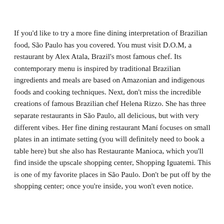If you'd like to try a more fine dining interpretation of Brazilian food, São Paulo has you covered. You must visit D.O.M, a restaurant by Alex Atala, Brazil's most famous chef. Its contemporary menu is inspired by traditional Brazilian ingredients and meals are based on Amazonian and indigenous foods and cooking techniques. Next, don't miss the incredible creations of famous Brazilian chef Helena Rizzo. She has three separate restaurants in São Paulo, all delicious, but with very different vibes. Her fine dining restaurant Maní focuses on small plates in an intimate setting (you will definitely need to book a table here) but she also has Restaurante Manioca, which you'll find inside the upscale shopping center, Shopping Iguatemi. This is one of my favorite places in São Paulo. Don't be put off by the shopping center; once you're inside, you won't even notice.